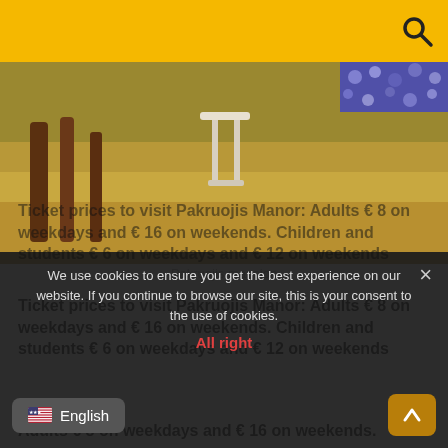[Figure (photo): Outdoor garden scene at Pakruojis mansion with chairs and table on dry grass, flower border visible at top right]
Pakruojis mansion
Ticket prices to visit Pakruojis Manor: Adults € 8 on weekdays and € 16 on weekends. Children and students € 6 on weekdays and € 12 on weekends
Adults € 8 on weekdays and € 16 on weekends.
Ticket prices to visit Pakruojis Manor: Adults € 8 on weekdays and € 16 on weekends. Children and students € 6 on weekdays and € 12 on weekends
We use cookies to ensure you get the best experience on our website. If you continue to browse our site, this is your consent to the use of cookies.
All right
English